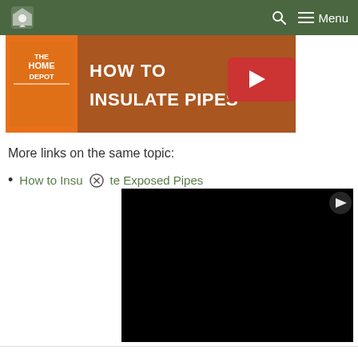Home Depot — How to Insulate Pipes — navigation bar
[Figure (screenshot): Video thumbnail: The Home Depot 'How to Insulate Pipes' video showing hands working with pipe insulation, orange background with white bold text]
More links on the same topic:
How to Insulate Exposed Pipes
[Figure (screenshot): Black video player area with a Rumble play button icon in top-right, and a close (X) button overlay]